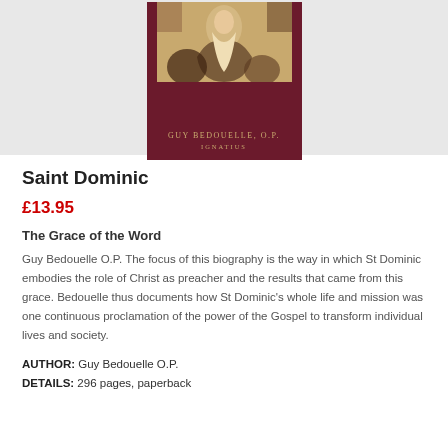[Figure (photo): Book cover of 'Saint Dominic' by Guy Bedouelle O.P., published by Ignatius. Dark maroon/burgundy cover with a painting of a figure and the author name and publisher in gold lettering.]
Saint Dominic
£13.95
The Grace of the Word
Guy Bedouelle O.P. The focus of this biography is the way in which St Dominic embodies the role of Christ as preacher and the results that came from this grace. Bedouelle thus documents how St Dominic's whole life and mission was one continuous proclamation of the power of the Gospel to transform individual lives and society.
AUTHOR: Guy Bedouelle O.P.
DETAILS: 296 pages, paperback